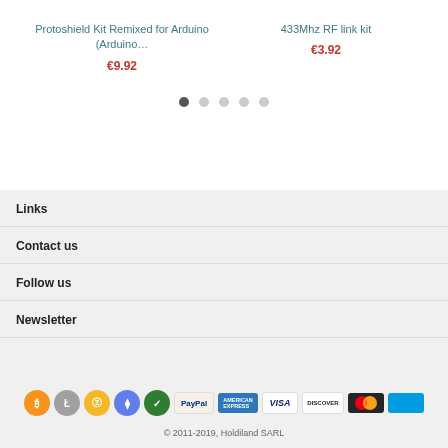Protoshield Kit Remixed for Arduino (Arduino…
€9.92
433Mhz RF link kit
€3.92
[Figure (other): Carousel dots navigation: 5 dots, first filled dark, rest light gray]
Links
Contact us
Follow us
Newsletter
[Figure (other): Payment method icons: Bitcoin, Litecoin, Zcash, Ethereum, Verified, PayPal, American Express, Visa, Discover, Mastercard, Maestro]
© 2011-2019, Holdiland SARL